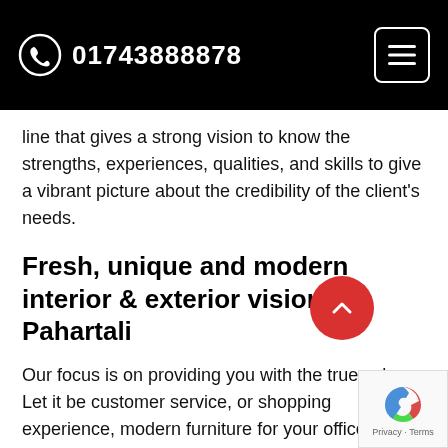01743888878
line that gives a strong vision to know the strengths, experiences, qualities, and skills to give a vibrant picture about the credibility of the client's needs.
Fresh, unique and modern interior & exterior vision in Pahartali
Our focus is on providing you with the true value. Let it be customer service, or shopping experience, modern furniture for your office, or the contemporary furniture for your lovely living room or relaxing in the bedroom, we are world committed to combining excellent product quality with service into an experience you just cannot say no to.
We design, we decorate, we create your